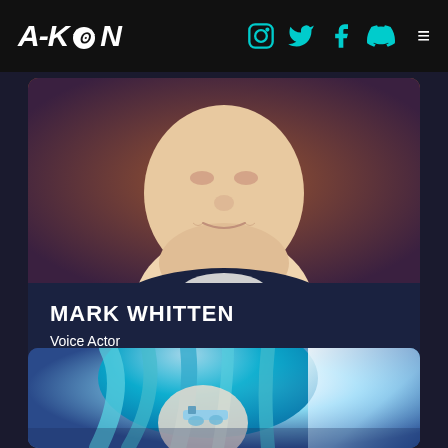A-KON
[Figure (photo): Close-up photo of Mark Whitten, a man with short hair, slight smile, wearing a dark blazer over a light shirt, brownish background]
MARK WHITTEN
Voice Actor
[Figure (photo): Cosplay photo of a character with bright blue/cyan hair, wearing futuristic accessories, dramatic lighting with white light flash]